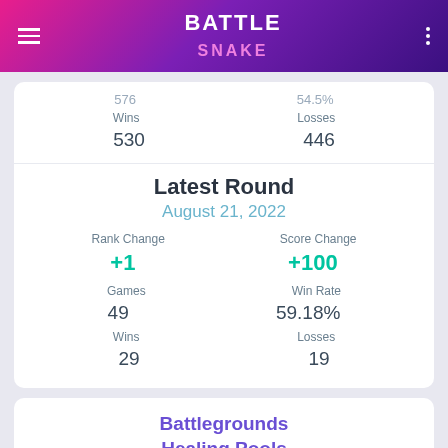BATTLE SNAKE
576  54.5%
Wins   Losses
530   446
Latest Round
August 21, 2022
Rank Change   Score Change
+1   +100
Games   Win Rate
49   59.18%
Wins   Losses
29   19
Battlegrounds Healing Pools